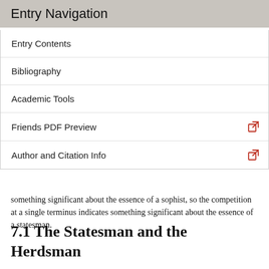Entry Navigation
Entry Contents
Bibliography
Academic Tools
Friends PDF Preview
Author and Citation Info
something significant about the essence of a sophist, so the competition at a single terminus indicates something significant about the essence of a statesman.
7.1 The Statesman and the Herdsman
The Statesman embarks on its division without a new paradigm. Apparently the angler from the previous dialogue serves as a viable guide for the method of dichotomous division itself. As we noted in § 3.1, the